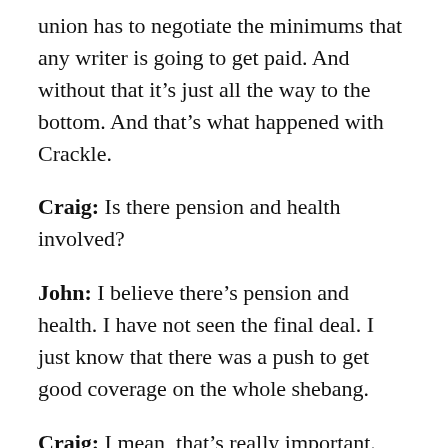union has to negotiate the minimums that any writer is going to get paid. And without that it's just all the way to the bottom. And that's what happened with Crackle.
Craig: Is there pension and health involved?
John: I believe there's pension and health. I have not seen the final deal. I just know that there was a push to get good coverage on the whole shebang.
Craig: I mean, that's really important.
John: Oh my god, pension and health is so crucial.
Craig: That's kind of the reason we're here